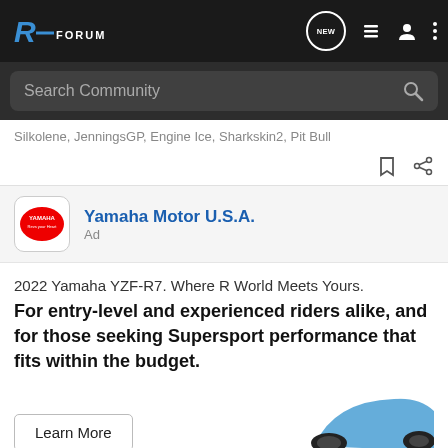RE Forum — Navigation bar with logo, NEW button, list icon, user icon, menu icon
Search Community
Silkolene, JenningsGP, Engine Ice, Sharkskin2, Pit Bull
Yamaha Motor U.S.A. — Ad
2022 Yamaha YZF-R7. Where R World Meets Yours.
For entry-level and experienced riders alike, and for those seeking Supersport performance that fits within the budget.
Learn More
[Figure (photo): Yamaha motorcycle YZF-R7 partial view, blue/white fairing]
[Figure (photo): Yamaha 60th World GP Anniversary banner ad showing three racing motorcycles in red/white livery with YAMAHA Racing logo and LEARN MORE button]